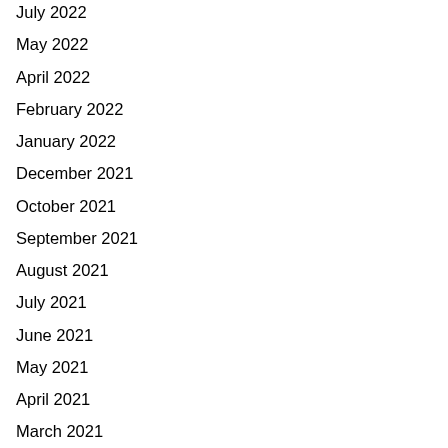July 2022
May 2022
April 2022
February 2022
January 2022
December 2021
October 2021
September 2021
August 2021
July 2021
June 2021
May 2021
April 2021
March 2021
February 2021